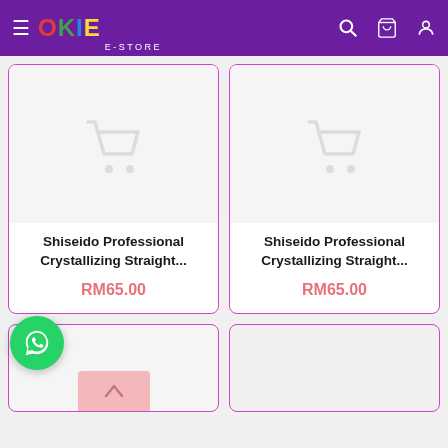OKIE E-STORE
[Figure (screenshot): Product card: Shiseido Professional Crystallizing Straight... RM65.00]
[Figure (screenshot): Product card: Shiseido Professional Crystallizing Straight... RM65.00]
[Figure (screenshot): Partial product card bottom row left]
[Figure (screenshot): Partial product card bottom row right]